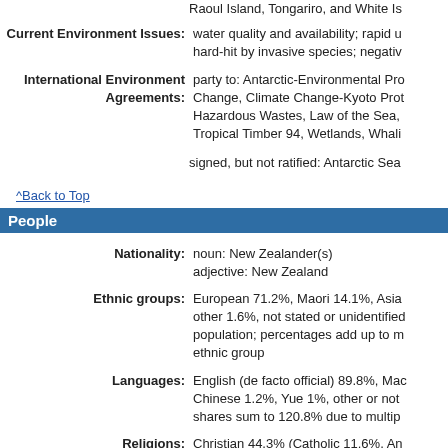Raoul Island, Tongariro, and White Is
Current Environment Issues: water quality and availability; rapid u hard-hit by invasive species; negativ
International Environment Agreements: party to: Antarctic-Environmental Pro Change, Climate Change-Kyoto Prot Hazardous Wastes, Law of the Sea, Tropical Timber 94, Wetlands, Whali
signed, but not ratified: Antarctic Sea
^Back to Top
People
Nationality: noun: New Zealander(s) adjective: New Zealand
Ethnic groups: European 71.2%, Maori 14.1%, Asia other 1.6%, not stated or unidentified population; percentages add up to m ethnic group
Languages: English (de facto official) 89.8%, Mac Chinese 1.2%, Yue 1%, other or not shares sum to 120.8% due to multip
Religions: Christian 44.3% (Catholic 11.6%, An Pentecostal 1.8%, other 9.9%), Hind (includes Judaism, Spiritualism and l 38.5%, not stated or unidentified 8.2
note: based on the 2013 census of th because respondents were able to id
Population: 4,47,097 July 2013 est.